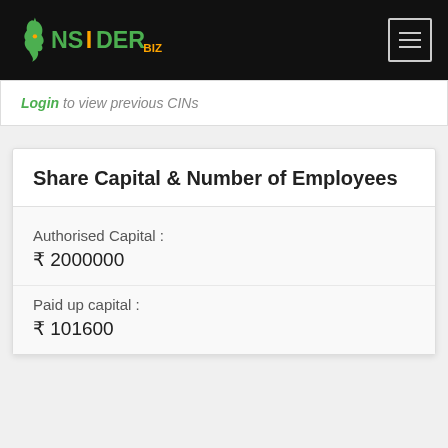INSIDERBIZ
Login to view previous CINs
Share Capital & Number of Employees
Authorised Capital :
₹ 2000000
Paid up capital :
₹ 101600